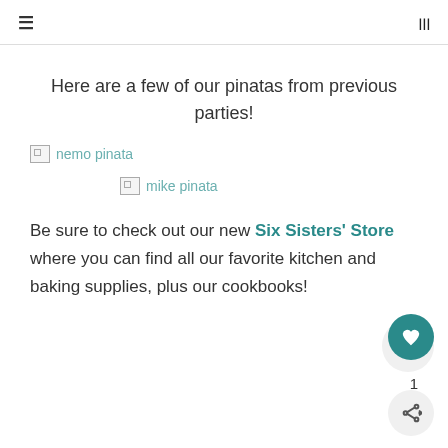≡  ʃ
Here are a few of our pinatas from previous parties!
[Figure (photo): Broken/missing image placeholder labeled 'nemo pinata']
[Figure (photo): Broken/missing image placeholder labeled 'mike pinata']
Be sure to check out our new Six Sisters' Store where you can find all our favorite kitchen and baking supplies, plus our cookbooks!